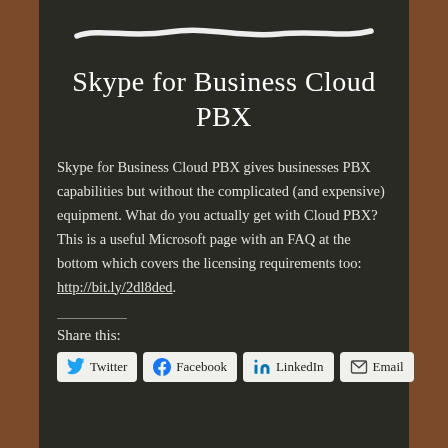[Figure (illustration): Hand-drawn white chalk line on dark chalkboard background]
Skype for Business Cloud PBX
Skype for Business Cloud PBX gives businesses PBX capabilities but without the complicated (and expensive) equipment. What do you actually get with Cloud PBX? This is a useful Microsoft page with an FAQ at the bottom which covers the licensing requirements too: http://bit.ly/2dl8ded.
Share this:
Twitter | Facebook | LinkedIn | Email